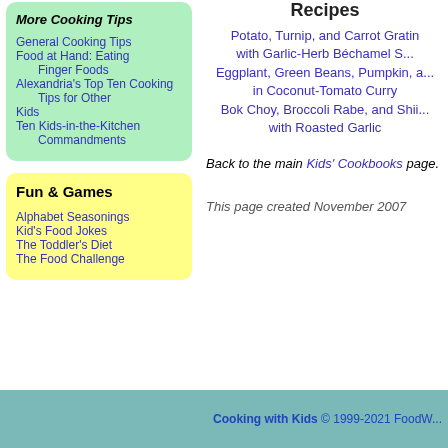Recipes
Potato, Turnip, and Carrot Gratin with Garlic-Herb Béchamel S...
Eggplant, Green Beans, Pumpkin, a... in Coconut-Tomato Curry
Bok Choy, Broccoli Rabe, and Shii... with Roasted Garlic
Back to the main Kids' Cookbooks page.
This page created November 2007
More Cooking Tips
General Cooking Tips
Food at Hand: Eating Finger Foods
Alexandria's Top Ten Cooking Tips for Other Kids
Ten Kids-in-the-Kitchen Commandments
Fun & Games
Alphabet Seasonings
Kid's Food Jokes
The Toddler's Diet
The Food Challenge
Cooking with Kids © 1999-2021 FoodW...